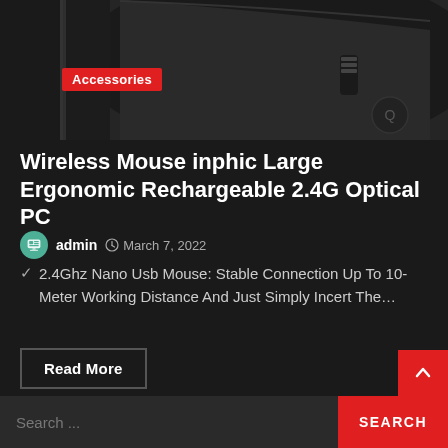[Figure (photo): Top portion of a black wireless computer mouse product photo with an 'Accessories' red badge label overlaid in the lower left area]
Wireless Mouse inphic Large Ergonomic Rechargeable 2.4G Optical PC
admin  March 7, 2022
2.4Ghz Nano Usb Mouse: Stable Connection Up To 10-Meter Working Distance And Just Simply Incert The…
Read More
1  2  3  4  Next
Search ...